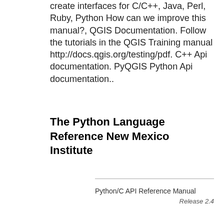create interfaces for C/C++, Java, Perl, Ruby, Python How can we improve this manual?, QGIS Documentation. Follow the tutorials in the QGIS Training manual http://docs.qgis.org/testing/pdf. C++ Api documentation. PyQGIS Python Api documentation..
The Python Language Reference New Mexico Institute
Python/C API Reference Manual
Release 2.4